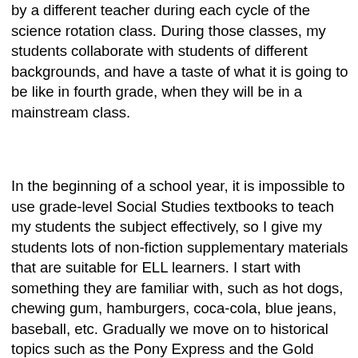by a different teacher during each cycle of the science rotation class. During those classes, my students collaborate with students of different backgrounds, and have a taste of what it is going to be like in fourth grade, when they will be in a mainstream class.
In the beginning of a school year, it is impossible to use grade-level Social Studies textbooks to teach my students the subject effectively, so I give my students lots of non-fiction supplementary materials that are suitable for ELL learners. I start with something they are familiar with, such as hot dogs, chewing gum, hamburgers, coca-cola, blue jeans, baseball, etc. Gradually we move on to historical topics such as the Pony Express and the Gold Rush, as well as American symbols, landmarks, and people. My students interact with the texts by identifying main ideas and supporting details, and by learning to ask each other questions to demonstrate their learning. Through these ELL supplementary materials, they learn the organization of non-fiction materials, enlarge vocabulary and background knowledge about American history and culture, and practice academic oral English. After about half a year, the foundation